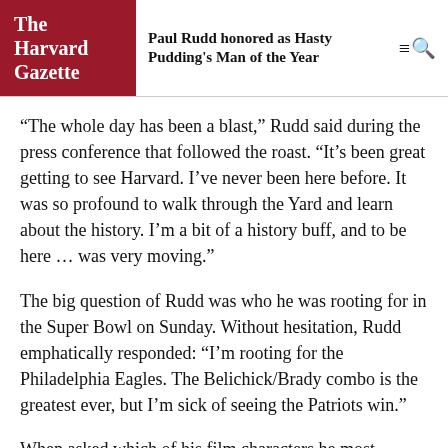The Harvard Gazette — Paul Rudd honored as Hasty Pudding's Man of the Year
“The whole day has been a blast,” Rudd said during the press conference that followed the roast. “It’s been great getting to see Harvard. I’ve never been here before. It was so profound to walk through the Yard and learn about the history. I’m a bit of a history buff, and to be here … was very moving.”
The big question of Rudd was who he was rooting for in the Super Bowl on Sunday. Without hesitation, Rudd emphatically responded: “I’m rooting for the Philadelphia Eagles. The Belichick/Brady combo is the greatest ever, but I’m sick of seeing the Patriots win.”
When asked which of his film characters he most identified with, Rudd said, “I think my character in “I